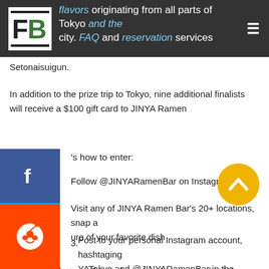Setonaisuigun.
In addition to the prize trip to Tokyo, nine additional finalists will receive a $100 gift card to JINYA Ramen
's how to enter:
Follow @JINYARamenBar on Instagram
Visit any of JINYA Ramen Bar's 20+ locations, snap a ure of your favorite dish
Post to your personal Instagram account, hashtaging YATokyo and @JINYARamenBar in the caption
of the best photos will be selected and regrammed to YA Ramen Bar's Instagram page. The grand prize Tokyo trip winner will be chosen out of the ten finalists by Tomonori Takahashi and announced on April 28, 2017.